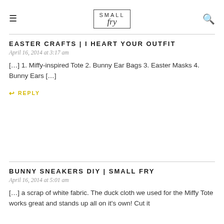SMALL fry
EASTER CRAFTS | I HEART YOUR OUTFIT
April 16, 2014 at 3:17 am
[…] 1. Miffy-inspired Tote 2. Bunny Ear Bags 3. Easter Masks 4. Bunny Ears […]
↩ REPLY
BUNNY SNEAKERS DIY | SMALL FRY
April 16, 2014 at 5:01 am
[…] a scrap of white fabric. The duck cloth we used for the Miffy Tote works great and stands up all on it's own! Cut it